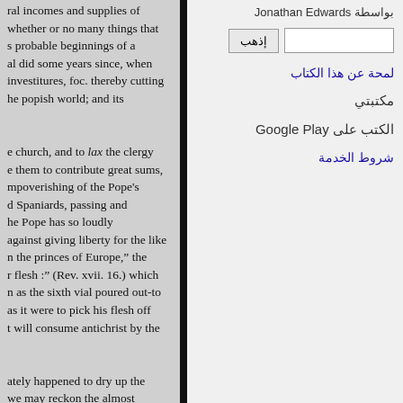ral incomes and supplies of whether or no many things that s probable beginnings of a al did some years since, when investitures, foc. thereby cutting he popish world; and its
e church, and to lax the clergy e them to contribute great sums, mpoverishing of the Pope's d Spaniards, passing and he Pope has so loudly against giving liberty for the like n the princes of Europe," the r flesh :" (Rev. xvii. 16.) which n as the sixth vial poured out-to as it were to pick his flesh off t will consume antichrist by the
ately happened to dry up the we may reckon the almost
بواسطة Jonathan Edwards
إذهب
لمحة عن هذا الكتاب
مكتبتي
الكتب على Google Play
شروط الخدمة